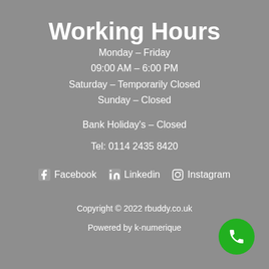Working Hours
Monday – Friday
09:00 AM – 6:00 PM
Saturday – Temporarily Closed
Sunday – Closed
Bank Holiday's – Closed
Tel: 0114 2435 8420
Facebook   Linkedin   Instagram
Copyright © 2022 rbuddy.co.uk
Powered by k-numerique